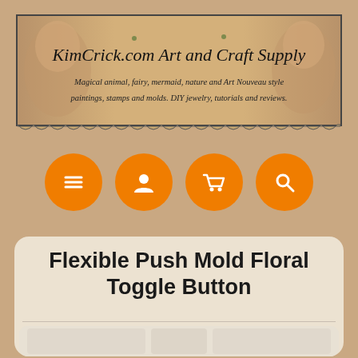[Figure (illustration): KimCrick.com Art and Craft Supply banner with Art Nouveau style faces on left and right, decorative foliage, italic serif title text and subtitle about magical animal, fairy, mermaid, nature and Art Nouveau style paintings, stamps and molds, DIY jewelry, tutorials and reviews]
[Figure (infographic): Four orange circular navigation icon buttons: hamburger menu, user/person, shopping cart, and search/magnifying glass icons]
Flexible Push Mold Floral Toggle Button
[Figure (photo): Product photo showing flexible push mold with floral toggle button designs, light-colored molds on white background]